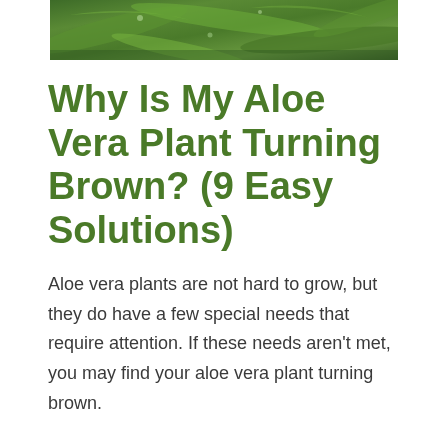[Figure (photo): Close-up photo of green aloe vera plant leaves, cropped at top of page]
Why Is My Aloe Vera Plant Turning Brown? (9 Easy Solutions)
Aloe vera plants are not hard to grow, but they do have a few special needs that require attention. If these needs aren't met, you may find your aloe vera plant turning brown.